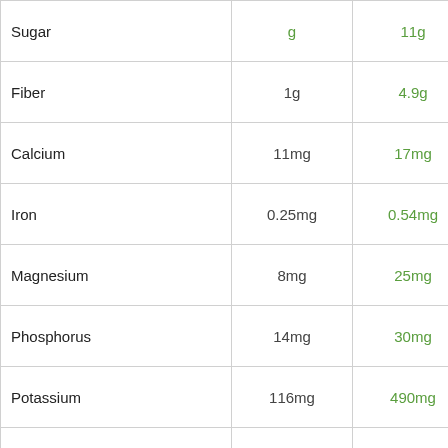| Nutrient | Value 1 | Value 2 | Image |
| --- | --- | --- | --- |
| Sugar | g | 11g |  |
| Fiber | 1g | 4.9g |  |
| Calcium | 11mg | 17mg |  |
| Iron | 0.25mg | 0.54mg |  |
| Magnesium | 8mg | 25mg |  |
| Phosphorus | 14mg | 30mg |  |
| Potassium | 116mg | 490mg |  |
| Sodium | 5mg | 2mg |  |